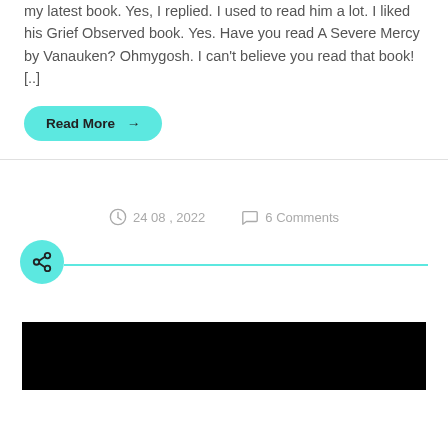my latest book. Yes, I replied. I used to read him a lot. I liked his Grief Observed book. Yes. Have you read A Severe Mercy by Vanauken? Ohmygosh. I can't believe you read that book![..]
Read More →
24 08 , 2022
6 Comments
[Figure (photo): Black horizontal bar image placeholder]